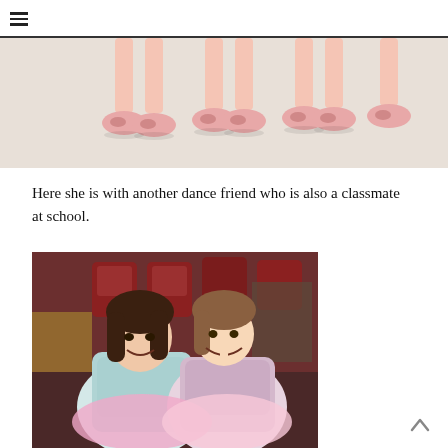[Figure (photo): Close-up photo of children's feet wearing pink ballet slippers/shoes on a light-colored floor, showing multiple pairs of feet lined up.]
Here she is with another dance friend who is also a classmate at school.
[Figure (photo): Two young girls in sparkly blue and pink dance/ballet costumes sitting together backstage near red auditorium seats, smiling at the camera.]